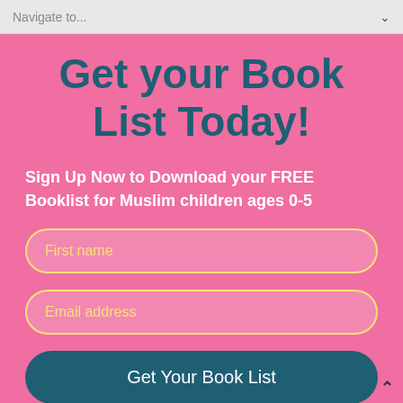Navigate to...
Get your Book List Today!
Sign Up Now to Download your FREE Booklist for Muslim children ages 0-5
First name
Email address
Get Your Book List